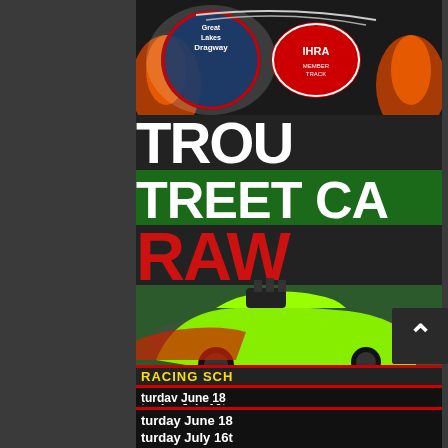[Figure (photo): Screenshot of a webpage showing a drag racing event flyer from Great Lakes Dragway. The flyer shows a bright green drag racing car with large supercharger. Text partially visible: 'DETRO', 'STREET CA', 'DRAW', and a racing schedule listing Saturday June 18, Saturday July 16th, Saturday August 1x, Saturday Septemberx. Below is a second photo showing a Dragway IHRA member track logo/sticker on a car.]
[Figure (photo): A scroll-to-top button (chevron up arrow) on dark background in the bottom right corner of the webpage.]